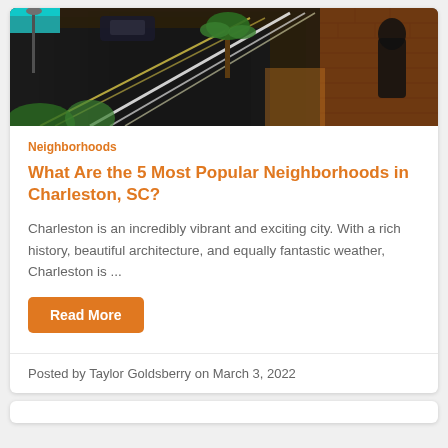[Figure (photo): Aerial/overhead view of a Charleston SC street at night with light trails from cars, palm trees, brick walls, and storefronts with teal awning visible]
Neighborhoods
What Are the 5 Most Popular Neighborhoods in Charleston, SC?
Charleston is an incredibly vibrant and exciting city. With a rich history, beautiful architecture, and equally fantastic weather, Charleston is ...
Read More
Posted by Taylor Goldsberry on March 3, 2022